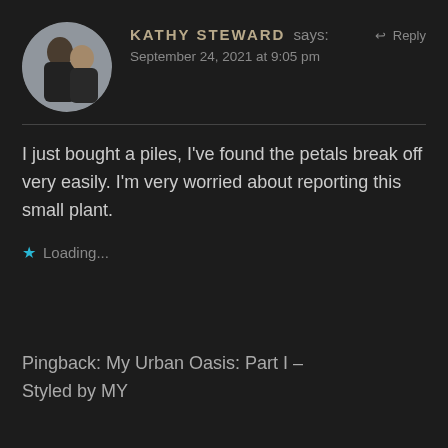[Figure (photo): Circular avatar photo of two people, a man and woman together, selfie style]
KATHY STEWARD says:
Reply
September 24, 2021 at 9:05 pm
I just bought a piles, I've found the petals break off very easily. I'm very worried about reporting this small plant.
★ Loading...
Pingback: My Urban Oasis: Part I – Styled by MY